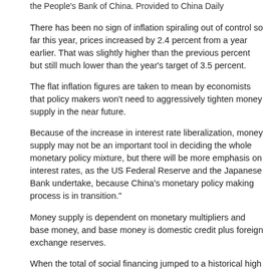the People's Bank of China. Provided to China Daily
There has been no sign of inflation spiraling out of control so far this year, prices increased by 2.4 percent from a year earlier. That was slightly higher than the previous percent but still much lower than the year's target of 3.5 percent.
The flat inflation figures are taken to mean by economists that policy makers won't need to aggressively tighten money supply in the near future.
Because of the increase in interest rate liberalization, money supply may not be important tool in deciding the whole monetary policy mixture, but there will be more emphasis on interest rates, as the US Federal Reserve and the Japanese Bank undertake, because China's monetary policy making process is in transition."
Money supply is dependent on monetary multipliers and base money, and base money is domestic credit plus foreign exchange reserves.
When the total of social financing jumped to a historical high by 160 percent year-on-year in January and 58.2 percent in the first quarter, fixed-asset investment growth reached a high of 21.2 percent in January and February, and then slowed to 20.9 percent.
Beyond all expectations, GDP growth during January to March slowed to 7.7 percent year-on-year from 7.9 percent in the last quarter of 2012.
It was a different picture four years earlier. Growth in total social financing reached 192 percent in the first quarter of 2009 and 121 percent in the second quarter, compared with the last three months of 2008. It led to a boost in fixed asset investment, which grew by 28.8 percent in the first quarter from 26.8 percent in the fourth quarter in 2008.